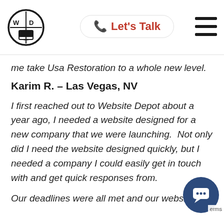[Figure (logo): Website Depot logo: circular badge with W and D letters in quadrants around a monitor icon, black and white]
Let's Talk
[Figure (other): Hamburger menu icon with three horizontal lines]
me take Usa Restoration to a whole new level.
Karim R. – Las Vegas, NV
I first reached out to Website Depot about a year ago, I needed a website designed for a new company that we were launching.  Not only did I need the website designed quickly, but I needed a company I could easily get in touch with and get quick responses from.
Our deadlines were all met and our website